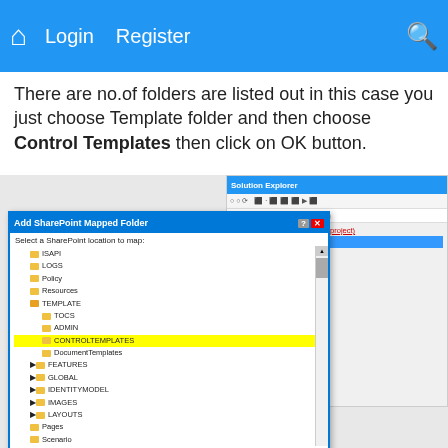Login   Register
There are no.of folders are listed out in this case you just choose Template folder and then choose Control Templates then click on OK button.
[Figure (screenshot): Screenshot showing 'Add SharePoint Mapped Folder' dialog with folder tree including ISAPI, LOGS, Policy, Resources, TEMPLATE (expanded with TOCS, ADMIN, CONTROLTEMPLATES highlighted in yellow, DocumentTemplates, FEATURES, GLOBAL, IDENTITYMODEL, IMAGES, LAYOUTS, Pages, Scenario) and a scrollbar. Also shows Solution Explorer panel with project tree showing Properties, References, Features, Package, key.snk.]